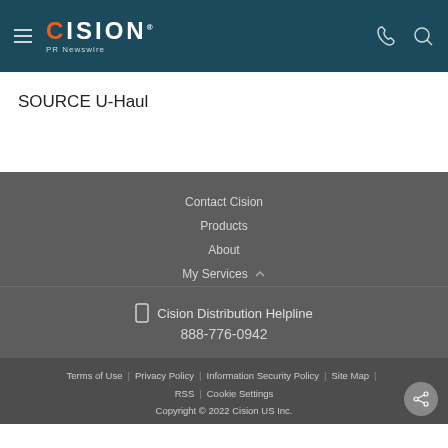Cision PR Newswire — navigation header
SOURCE U-Haul
Contact Cision
Products
About
My Services
Cision Distribution Helpline
888-776-0942
Terms of Use | Privacy Policy | Information Security Policy | Site Map | RSS | Cookie Settings
Copyright © 2022 Cision US Inc.